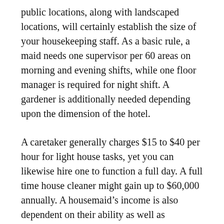public locations, along with landscaped locations, will certainly establish the size of your housekeeping staff. As a basic rule, a maid needs one supervisor per 60 areas on morning and evening shifts, while one floor manager is required for night shift. A gardener is additionally needed depending upon the dimension of the hotel.
A caretaker generally charges $15 to $40 per hour for light house tasks, yet you can likewise hire one to function a full day. A full time house cleaner might gain up to $60,000 annually. A housemaid's income is also dependent on their ability as well as experience. Nonetheless, a housemaid must additionally consider their